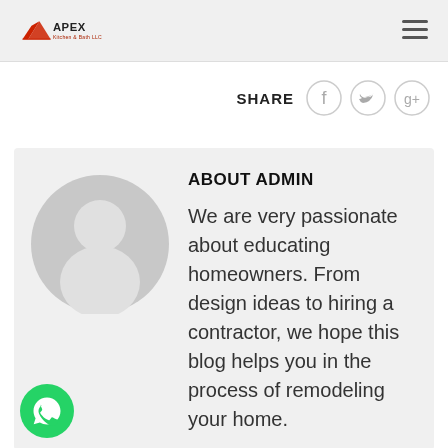Apex Kitchen & Bath LLC
SHARE
[Figure (illustration): Default admin avatar - grey circle with white silhouette person icon]
ABOUT ADMIN
We are very passionate about educating homeowners. From design ideas to hiring a contractor, we hope this blog helps you in the process of remodeling your home.